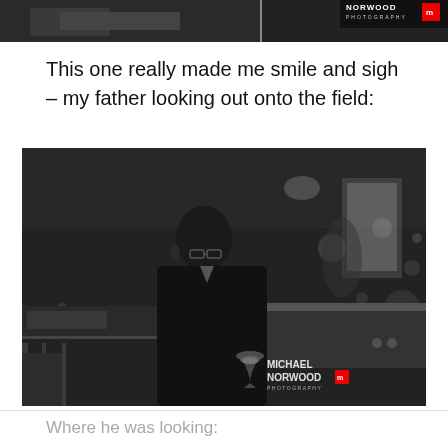[Figure (photo): Top cropped black and white photograph with Norwood Photography logo/watermark visible at top right]
This one really made me smile and sigh – my father looking out onto the field:
[Figure (photo): Black and white photograph of an elderly bald man wearing glasses and a dark suit, holding a wine glass, looking out toward a field. Michael Norwood Photography watermark in bottom right corner.]
Where he was looking: